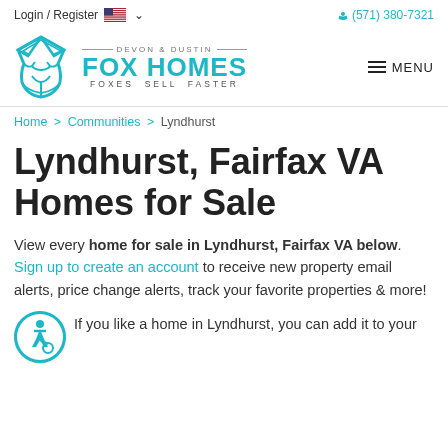Login / Register   🇺🇸 ∨   (571) 380-7321
[Figure (logo): Devon & Dustin Fox Homes logo with teal fox icon, text: DEVON & DUSTIN / FOX HOMES / FOXES SELL FASTER]
MENU
Home > Communities > Lyndhurst
Lyndhurst, Fairfax VA Homes for Sale
View every home for sale in Lyndhurst, Fairfax VA below. Sign up to create an account to receive new property email alerts, price change alerts, track your favorite properties & more!
If you like a home in Lyndhurst, you can add it to your